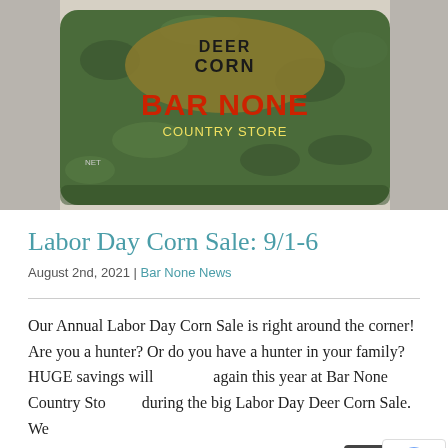[Figure (photo): Photo of a green camouflage-patterned bag of Deer Corn labeled 'Bar None Country Store' with red text, lying on a light-colored surface.]
Labor Day Corn Sale: 9/1-6
August 2nd, 2021 | Bar None News
Our Annual Labor Day Corn Sale is right around the corner! Are you a hunter? Or do you have a hunter in your family? HUGE savings will happen again this year at Bar None Country Store during the big Labor Day Deer Corn Sale.  We